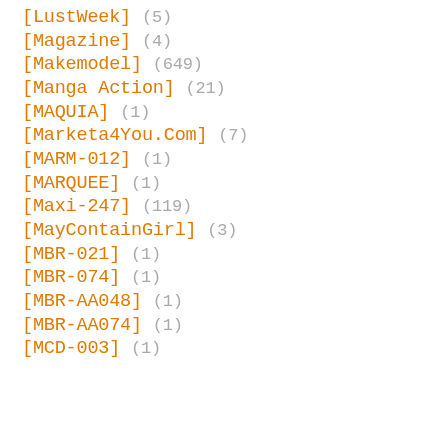[LustWeek] (5)
[Magazine] (4)
[Makemodel] (649)
[Manga Action] (21)
[MAQUIA] (1)
[Marketa4You.Com] (7)
[MARM-012] (1)
[MARQUEE] (1)
[Maxi-247] (119)
[MayContainGirl] (3)
[MBR-021] (1)
[MBR-074] (1)
[MBR-AA048] (1)
[MBR-AA074] (1)
[MCD-003] (1)